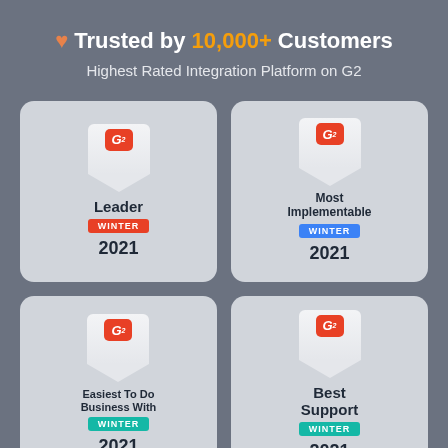♥ Trusted by 10,000+ Customers
Highest Rated Integration Platform on G2
[Figure (infographic): Four G2 award badges arranged in a 2x2 grid on a gray background. Top-left: Leader Winter 2021 (red banner). Top-right: Most Implementable Winter 2021 (blue banner). Bottom-left: Easiest To Do Business With Winter 2021 (teal banner). Bottom-right: Best Support Winter 2021 (teal banner).]